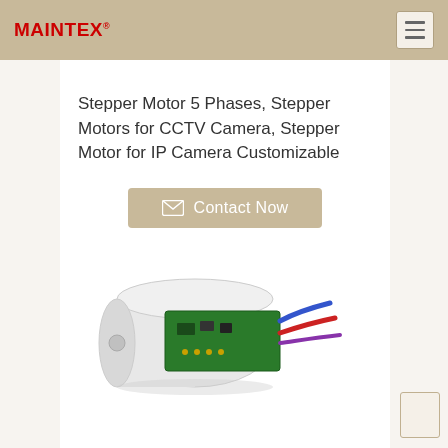MAINTEX®
Stepper Motor 5 Phases, Stepper Motors for CCTV Camera, Stepper Motor for IP Camera Customizable
Contact Now
[Figure (photo): Photo of a stepper motor circuit board with colored wires (blue, red) attached, partially visible inside a white housing enclosure.]